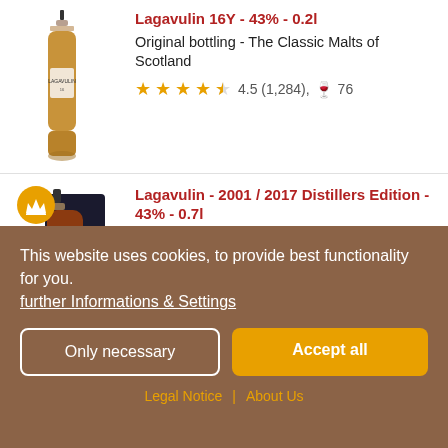Lagavulin 16Y - 43% - 0.2l
Original bottling - The Classic Malts of Scotland
4.5 (1,284), 76
Lagavulin - 2001 / 2017 Distillers Edition - 43% - 0.7l
Original bottling - Distillers Edition (Diageo)
4.8 (53), 2
This website uses cookies, to provide best functionality for you.
further Informations & Settings
Only necessary
Accept all
Legal Notice | About Us